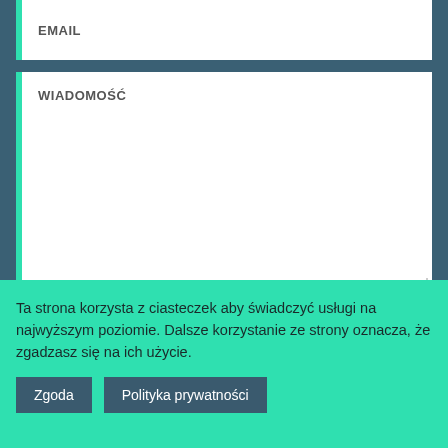EMAIL
WIADOMOŚĆ
Wyrażam zgodę na przetwarzanie przesłanych danych zgodnie z polityką prywatności
TAK
Ta strona korzysta z ciasteczek aby świadczyć usługi na najwyższym poziomie. Dalsze korzystanie ze strony oznacza, że zgadzasz się na ich użycie.
Zgoda
Polityka prywatności